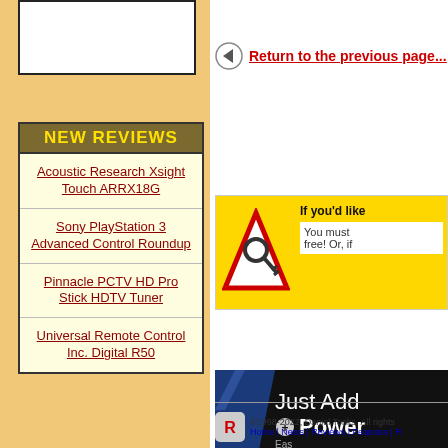[Figure (other): White box with black border at top of left sidebar]
NEW REVIEWS
Acoustic Research Xsight Touch ARRX18G
Sony PlayStation 3 Advanced Control Roundup
Pinnacle PCTV HD Pro Stick HDTV Tuner
Universal Remote Control Inc. Digital R50
Return to the previous page...
[Figure (other): Key icon in triangle warning sign with login message: If you'd like... You must... free! Or, if...]
[Figure (other): Just Add Power advertisement banner with diagonal stripes]
©1998-2022, Daniel Tonks. All rights  Home | News | Reviews | Features | R